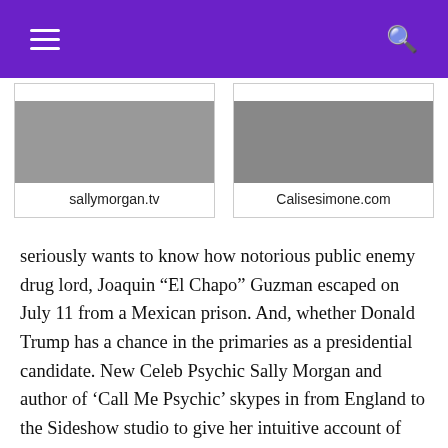Navigation header with hamburger menu and search icon
[Figure (screenshot): Two thumbnail images side by side: left thumbnail shows sallymorgan.tv, right thumbnail shows Calisesimone.com]
seriously wants to know how notorious public enemy drug lord, Joaquin “El Chapo” Guzman escaped on July 11 from a Mexican prison. And, whether Donald Trump has a chance in the primaries as a presidential candidate. New Celeb Psychic Sally Morgan and author of ‘Call Me Psychic’ skypes in from England to the Sideshow studio to give her intuitive account of the ‘El Chapo’ escape and his whereabouts thereafter. This was taped July 14,2015, and this recording posted a week later. Already her predictions have proven valid as of July 21. Interesting and incredible